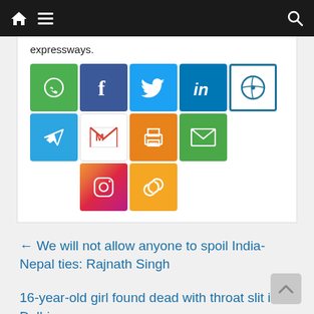Navigation bar with home, menu, and search icons
expressways.
[Figure (other): Social media share buttons: WhatsApp, Facebook, Twitter, LinkedIn, WordPress, Telegram, Gmail, Print, Email, Instagram, Link/Copy]
← We will not allow anyone to spoil India-Nepal ties: Rajnath Singh
16-year-old girl found dead with throat slit in Delhi →